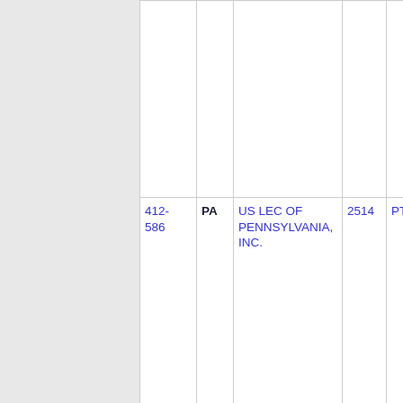| NPA-NXX | ST | Company Name | OCN | ... |
| --- | --- | --- | --- | --- |
| 412-586 | PA | US LEC OF PENNSYLVANIA, INC. | 2514 | PTTS... |
| Thousands block for 412-586 |  |  |  |  |
| 412-586-0 | PA | US LEC OF PENNSYLVANIA, INC. | 2514 | PTTS... |